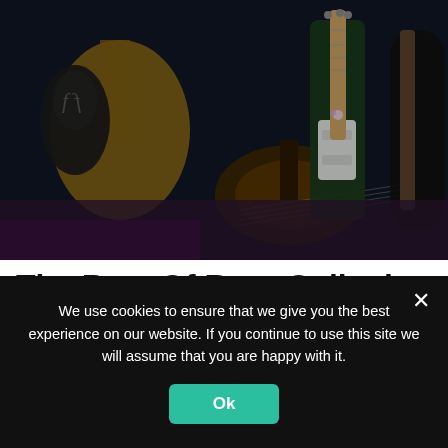[Figure (photo): Collection of guitars and stringed instruments including electric guitars, acoustic guitars, mandolin, and violin/fiddle leaning against each other in a dark setting]
The Best Of Rory Gallagher – tracklist
We use cookies to ensure that we give you the best experience on our website. If you continue to use this site we will assume that you are happy with it.